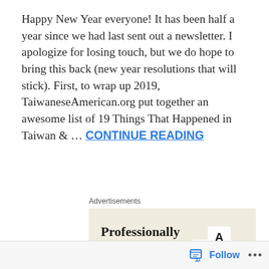Happy New Year everyone! It has been half a year since we had last sent out a newsletter. I apologize for losing touch, but we do hope to bring this back (new year resolutions that will stick). First, to wrap up 2019, TaiwaneseAmerican.org put together an awesome list of 19 Things That Happened in Taiwan & … CONTINUE READING
Advertisements
[Figure (screenshot): Advertisement banner with beige background. Headline: 'Professionally designed sites in less than a week'. Green 'Explore options' button. Device mockup showing website thumbnails on the right.]
Follow ···